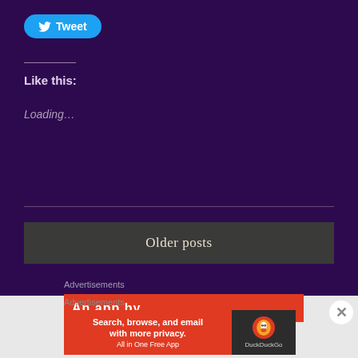[Figure (screenshot): Twitter Tweet button with blue rounded background and bird icon]
Like this:
Loading...
Older posts
Advertisements
[Figure (screenshot): Partial red advertisement banner showing text starting with 'An app by']
Advertisements
[Figure (screenshot): DuckDuckGo advertisement: Search, browse, and email with more privacy. All in One Free App]